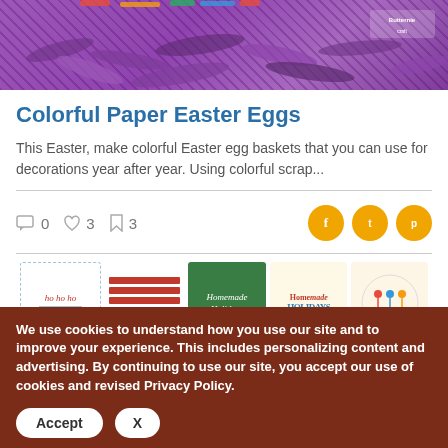[Figure (photo): Purple shredded paper Easter basket filling photographed from above, with a small watermark logo in the top right corner]
Colorful Paper Easter Eggs
This Easter, make colorful Easter egg baskets that you can use for decorations year after year. Using colorful scrap...
0  3  3
[Figure (photo): Row of holiday-themed thumbnails including: ho ho ho gift tag, red and white striped design, Homemade Holidays chalkboard, Homemade Holidays cursive text, and a circle with holiday characters]
We use cookies to understand how you use our site and to improve your experience. This includes personalizing content and advertising. By continuing to use our site, you accept our use of cookies and revised Privacy Policy.